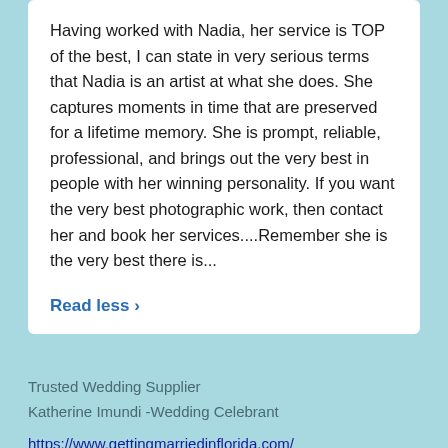Having worked with Nadia, her service is TOP of the best, I can state in very serious terms that Nadia is an artist at what she does. She captures moments in time that are preserved for a lifetime memory. She is prompt, reliable, professional, and brings out the very best in people with her winning personality. If you want the very best photographic work, then contact her and book her services....Remember she is the very best there is...
Read less >
Trusted Wedding Supplier
Katherine Imundi -Wedding Celebrant
https://www.gettingmarriedinflorida.com/
To all wedding suppliers and newly engaged couples who